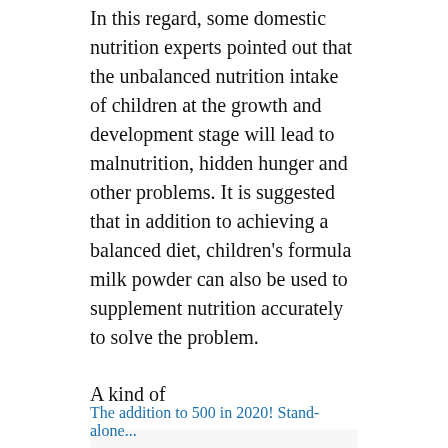In this regard, some domestic nutrition experts pointed out that the unbalanced nutrition intake of children at the growth and development stage will lead to malnutrition, hidden hunger and other problems. It is suggested that in addition to achieving a balanced diet, children's formula milk powder can also be used to supplement nutrition accurately to solve the problem.
A kind of
Pay attention to “xiaoshidai” (wechat: foodinc) and reply to “JUNLEBAO” to see the wonderful news.
[Figure (other): Broken image placeholder icon]
The addition to 500 in 2020! Stand-alone...